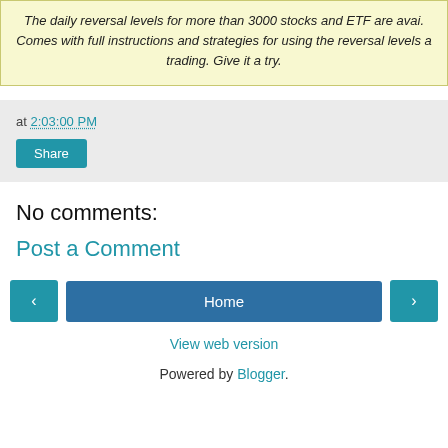The daily reversal levels for more than 3000 stocks and ETF are avai. Comes with full instructions and strategies for using the reversal levels a trading. Give it a try.
at 2:03:00 PM
Share
No comments:
Post a Comment
< Home >
View web version
Powered by Blogger.